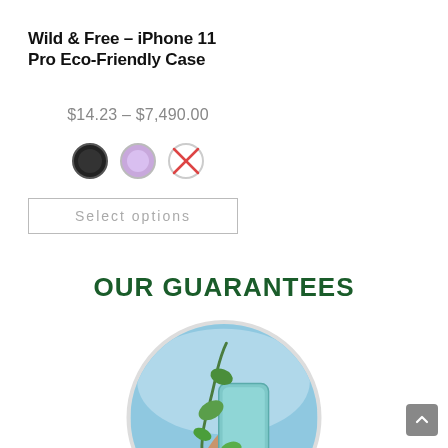Wild & Free – iPhone 11 Pro Eco-Friendly Case
$14.23 – $7,490.00
[Figure (infographic): Three color swatch circles: black (filled), lavender/purple (filled), and a crossed-out/unavailable circle]
Select options
OUR GUARANTEES
[Figure (photo): A hand holding a light blue phone case with a green vine plant wrapped around it, set against a blue sky background, displayed in a circular crop]